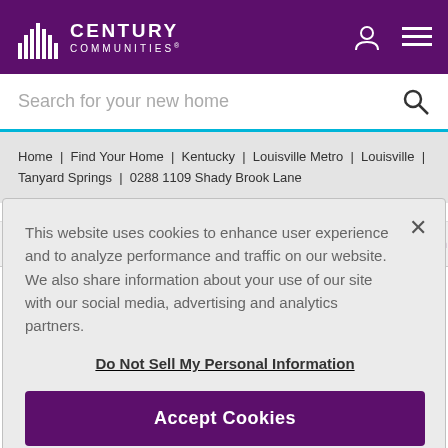CENTURY COMMUNITIES®
Search for your new home
Home | Find Your Home | Kentucky | Louisville Metro | Louisville | Tanyard Springs | 0288 1109 Shady Brook Lane
Overview | Floor Plan | Community Information
This website uses cookies to enhance user experience and to analyze performance and traffic on our website. We also share information about your use of our site with our social media, advertising and analytics partners.
Do Not Sell My Personal Information
Accept Cookies